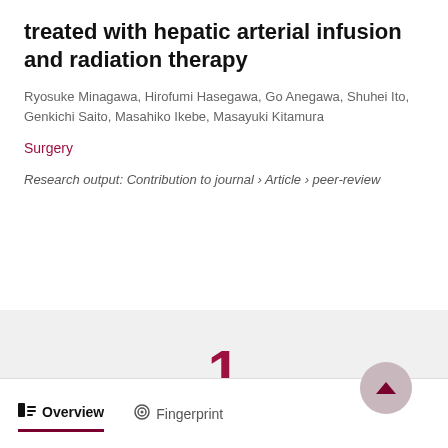treated with hepatic arterial infusion and radiation therapy
Ryosuke Minagawa, Hirofumi Hasegawa, Go Anegawa, Shuhei Ito, Genkichi Saito, Masahiko Ikebe, Masayuki Kitamura
Surgery
Research output: Contribution to journal › Article › peer-review
1
Citation
(Scopus)
Overview   Fingerprint